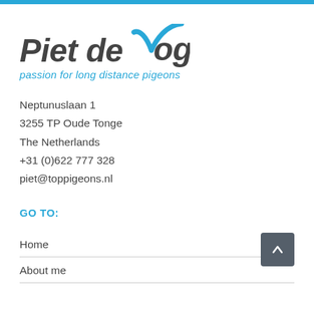[Figure (logo): Piet de Vogel logo with blue checkmark and tagline 'passion for long distance pigeons']
Neptunuslaan 1
3255 TP Oude Tonge
The Netherlands
+31 (0)622 777 328
piet@toppigeons.nl
GO TO:
Home
About me